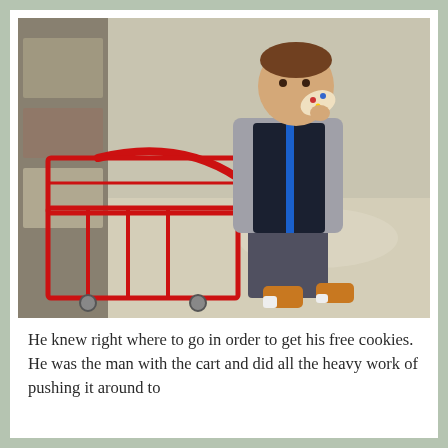[Figure (photo): A young toddler boy wearing a gray fleece jacket, dark navy vest, gray pants, and yellow shoes, eating a frosted cookie with colorful sprinkles while pushing a small red shopping cart in a store aisle.]
He knew right where to go in order to get his free cookies. He was the man with the cart and did all the heavy work of pushing it around to